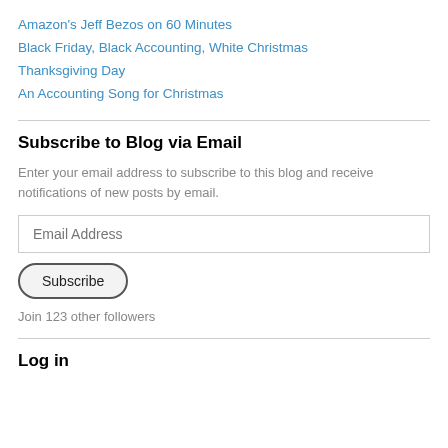Amazon's Jeff Bezos on 60 Minutes
Black Friday, Black Accounting, White Christmas
Thanksgiving Day
An Accounting Song for Christmas
Subscribe to Blog via Email
Enter your email address to subscribe to this blog and receive notifications of new posts by email.
Email Address
Subscribe
Join 123 other followers
Log in